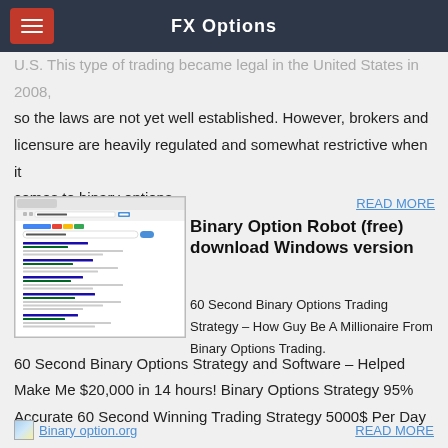FX Options
U.S. This type of trading became legal in the United States in 2008, so the laws are not yet well established. However, brokers and licensure are heavily regulated and somewhat restrictive when it comes to binary options.
READ MORE
Binary Option Robot (free) download Windows version
60 Second Binary Options Trading Strategy – How Guy Be A Millionaire From Binary Options Trading. 60 Second Binary Options Strategy and Software – Helped Make Me $20,000 in 14 hours! Binary Options Strategy 95% Accurate 60 Second Winning Trading Strategy 5000$ Per Day
[Figure (screenshot): Screenshot of a Google search results page for binary options trading topics]
Binary option.org
READ MORE